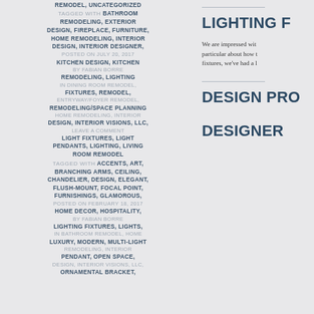REMODEL, UNCATEGORIZED TAGGED WITH BATHROOM REMODELING, EXTERIOR DESIGN, FIREPLACE, FURNITURE, HOME REMODELING, INTERIOR DESIGN, INTERIOR DESIGNER,
POSTED ON JULY 20, 2017 | KITCHEN DESIGN, KITCHEN BY FABIAN BORRE | REMODELING, LIGHTING IN DINING ROOM REMODEL, FIXTURES, REMODEL, ENTRYWAY/FOYER REMODEL, REMODELING/SPACE PLANNING HOME REMODELING, INTERIOR DESIGN, INTERIOR VISIONS, LLC, LEAVE A COMMENT | LIGHT FIXTURES, LIGHT PENDANTS, LIGHTING, LIVING ROOM REMODEL
TAGGED WITH ACCENTS, ART, BRANCHING ARMS, CEILING, CHANDELIER, DESIGN, ELEGANT, FLUSH-MOUNT, FOCAL POINT, FURNISHINGS, GLAMOROUS,
POSTED ON FEBRUARY 18, 2017 | HOME DECOR, HOSPITALITY, BY FABIAN BORRE | LIGHTING FIXTURES, LIGHTS, IN BATHROOM REMODEL, HOME LUXURY, MODERN, MULTI-LIGHT REMODELING, INTERIOR PENDANT, OPEN SPACE, DESIGN, INTERIOR VISIONS, LLC, ORNAMENTAL BRACKET,
LIGHTING F
We are impressed wit particular about how t fixtures, we've had a l
DESIGN PRO DESIGNER